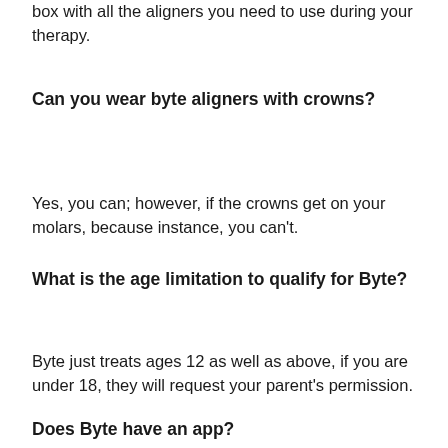box with all the aligners you need to use during your therapy.
Can you wear byte aligners with crowns?
Yes, you can; however, if the crowns get on your molars, because instance, you can't.
What is the age limitation to qualify for Byte?
Byte just treats ages 12 as well as above, if you are under 18, they will request your parent's permission.
Does Byte have an app?